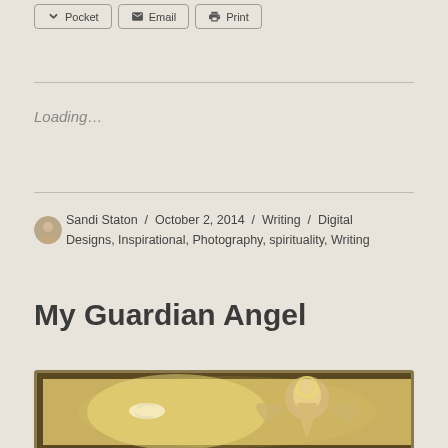[Figure (other): Social share buttons row: Pocket, Email, Print]
Loading...
Sandi Staton / October 2, 2014 / Writing / Digital Designs, Inspirational, Photography, spirituality, Writing
My Guardian Angel
[Figure (photo): Angel artwork with golden tones showing an angelic female figure with wings and a dove]